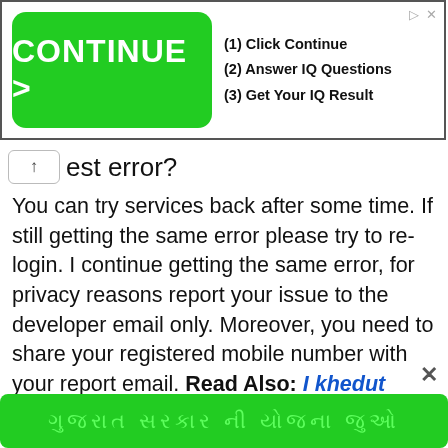[Figure (screenshot): Advertisement banner with a green 'CONTINUE >' button on the left and steps '(1) Click Continue (2) Answer IQ Questions (3) Get Your IQ Result' on the right, inside a bordered box with navigation icons top-right.]
est error?
You can try services back after some time. If still getting the same error please try to re-login. I continue getting the same error, for privacy reasons report your issue to the developer email only. Moreover, you need to share your registered mobile number with your report email. Read Also: I khedut yojana 2020
5. How to re-login?
You can use forgot password option. App data
[Figure (screenshot): Green bottom bar with Gujarati script text in lighter green color.]